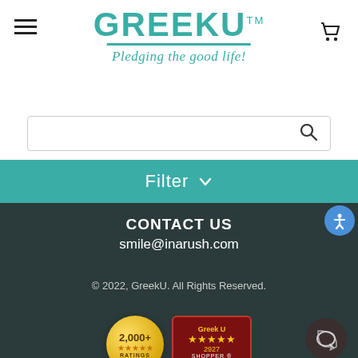[Figure (logo): GreekU logo with teal text 'GREEKU' and tagline 'Pledging the good life!']
[Figure (other): Search bar with magnifying glass icon]
[Figure (other): Teal Filter button with dropdown arrow]
CONTACT US
smile@inarush.com
© 2022, GreekU. All Rights Reserved.
[Figure (other): 2,000+ Ratings gold badge]
[Figure (other): Greek U shopper star rating badge with 2927 reviews]
[Figure (other): Accessibility button (blue circle with person icon)]
[Figure (other): Chat bubble button]